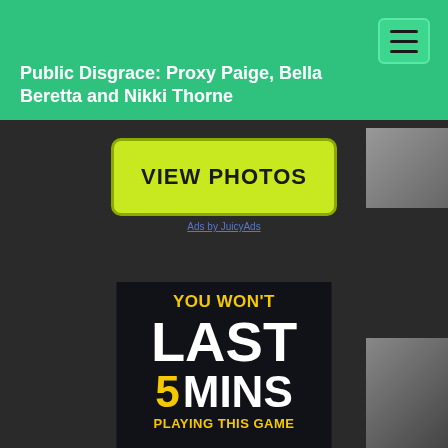Public Disgrace: Proxy Paige, Bella Beretta and Nikki Thorne
[Figure (screenshot): Hamburger menu button icon in top right corner of green header]
Public Disgrace: Proxy Paige, Bella Beretta and Nikki Thorne
[Figure (screenshot): VIEW PHOTOS button in yellow-green on dark background with 'Ads by JuicyAds' text below]
[Figure (photo): Thumbnail image on top right showing feet/shoes with PublicDisgrace watermark]
[Figure (screenshot): Game advertisement: YOU WON'T LAST 5 MINS PLAYING THIS GAME in yellow and white text on dark background]
[Figure (photo): Thumbnail image on bottom right showing a person]